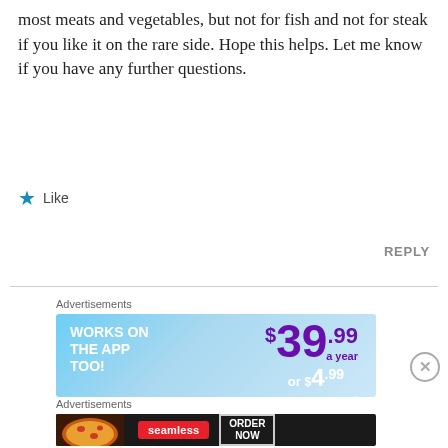most meats and vegetables, but not for fish and not for steak if you like it on the rare side. Hope this helps. Let me know if you have any further questions.
★ Like
REPLY
[Figure (infographic): Advertisement banner with blue gradient background. Text on left reads 'WORKS ON THE APP TOO!' in white bold uppercase. Right side shows '$39.99 a year or $4.99 a month' in purple and white text.]
[Figure (infographic): Seamless food delivery advertisement. Dark background with pizza image on left. Red Seamless logo in center. 'ORDER NOW' button outlined in white on right.]